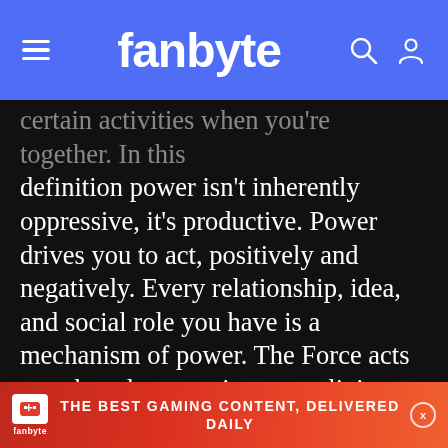fanbyte
certain activities when you're together. In this definition power isn't inherently oppressive, it's productive. Power drives you to act, positively and negatively. Every relationship, idea, and social role you have is a mechanism of power. The Force acts as a thread connecting every living being together, putting all of their lives in
[Figure (screenshot): Fanbyte First Byte video widget showing a cat game scene with play button, First Byte badge, and title: Stray? More Like Hey! This Game's Pretty Good | First Byte]
[Figure (logo): Fanbyte advertisement banner: THE BEST GAMING CONTENT, DELIVERED DAILY]